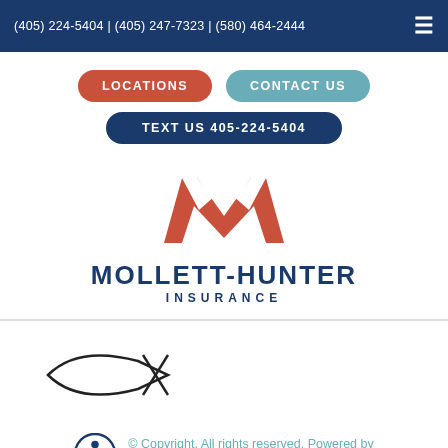(405) 224-5404 | (405) 247-7323 | (580) 464-2444
LOCATIONS
CONTACT US
TEXT US 405-224-5404
[Figure (logo): Mollett-Hunter Insurance logo: stylized red-orange M lettermark above bold navy text reading MOLLETT-HUNTER INSURANCE]
[Figure (illustration): Ichthys (Christian fish symbol) outline drawing in black]
© Copyright. All rights reserved. Powered by Insurance Website Builder.